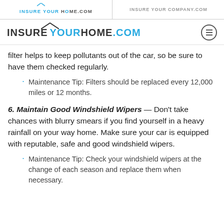INSURE YOUR HOME.COM | INSURE YOUR COMPANY.COM
[Figure (logo): InsureYourHome.com logo with roof icon and hamburger menu icon]
filter helps to keep pollutants out of the car, so be sure to have them checked regularly.
Maintenance Tip: Filters should be replaced every 12,000 miles or 12 months.
6. Maintain Good Windshield Wipers — Don't take chances with blurry smears if you find yourself in a heavy rainfall on your way home. Make sure your car is equipped with reputable, safe and good windshield wipers.
Maintenance Tip: Check your windshield wipers at the change of each season and replace them when necessary.